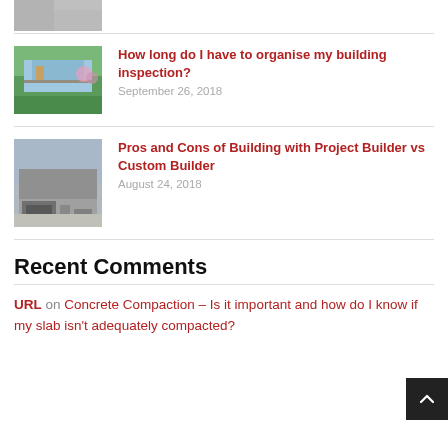[Figure (photo): Partial house thumbnail at top of page, cropped]
[Figure (photo): House with garden thumbnail for building inspection article]
How long do I have to organise my building inspection?
September 26, 2018
[Figure (photo): Modern house with garage thumbnail for project builder article]
Pros and Cons of Building with Project Builder vs Custom Builder
August 24, 2018
Recent Comments
URL on Concrete Compaction – Is it important and how do I know if my slab isn't adequately compacted?